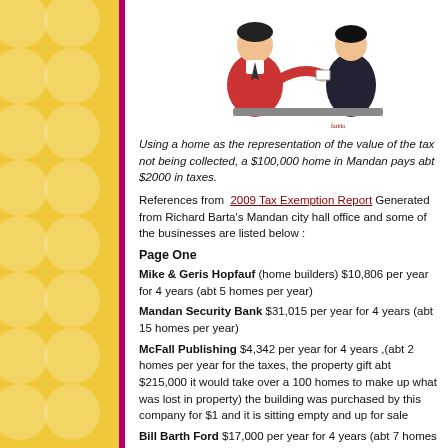[Figure (illustration): Illustration of two people at a counter or desk, one handing something to another, colored in red/black comic style]
Using a home as the representation of the value of the tax not being collected, a $100,000 home in Mandan pays abt $2000 in taxes.
References from 2009 Tax Exemption Report Generated from Richard Barta's Mandan city hall office and some of the businesses are listed below :
Page One
Mike & Geris Hopfauf (home builders) $10,806 per year for 4 years (abt 5 homes per year)
Mandan Security Bank $31,015 per year for 4 years (abt 15 homes per year)
McFall Publishing $4,342 per year for 4 years ,(abt 2 homes per year for the taxes, the property gift abt $215,000 it would take over a 100 homes to make up what was lost in property) the building was purchased by this company for $1 and it is sitting empty and up for sale
Bill Barth Ford $17,000 per year for 4 years (abt 7 homes per year)
Page Two